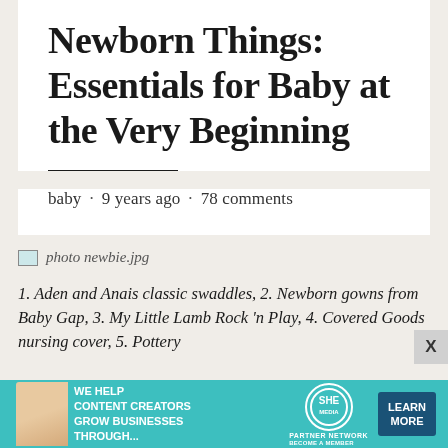Newborn Things: Essentials for Baby at the Very Beginning
baby · 9 years ago · 78 comments
[Figure (photo): Broken/missing image placeholder labeled 'photo newbie.jpg']
1. Aden and Anais classic swaddles, 2. Newborn gowns from Baby Gap, 3. My Little Lamb Rock 'n Play, 4. Covered Goods nursing cover, 5. Pottery
[Figure (infographic): Advertisement banner: SHE Media Partner Network — 'We help content creators grow businesses through...' with Learn More button]